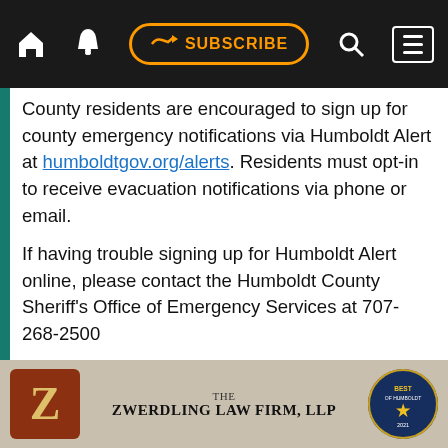Navigation bar with home, bell, SUBSCRIBE, search, and menu icons
County residents are encouraged to sign up for county emergency notifications via Humboldt Alert at humboldtgov.org/alerts. Residents must opt-in to receive evacuation notifications via phone or email.
If having trouble signing up for Humboldt Alert online, please contact the Humboldt County Sheriff's Office of Emergency Services at 707-268-2500
FOR MORE INFORMATION
Additional updates will be issued via press release as needed.
For more information regarding the Knob Fire, current impact and evacuation areas, please go to humboldtsheriff.org, visit @HumCoOES on
THE ZWERDLING LAW FIRM, LLP — advertisement